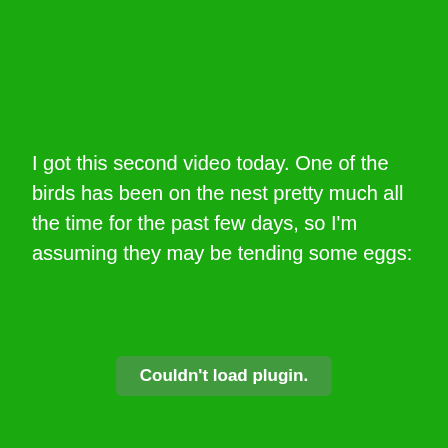I got this second video today. One of the birds has been on the nest pretty much all the time for the past few days, so I'm assuming they may be tending some eggs:
Couldn't load plugin.